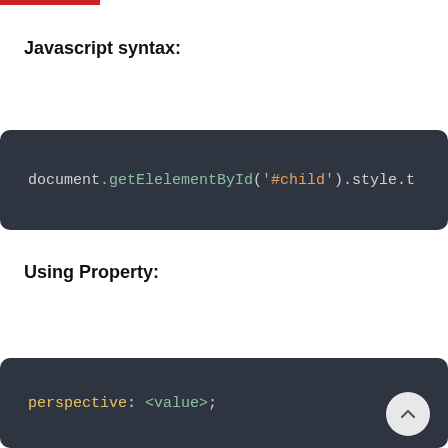Javascript syntax:
document.getElelementById('#child').style.t
Using Property:
perspective: <value>;